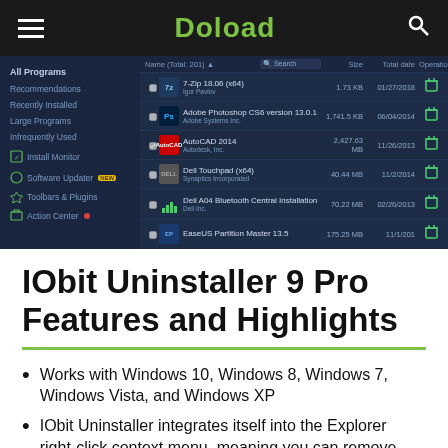Doload
[Figure (screenshot): Screenshot of IObit Uninstaller 9 Pro interface showing a dark-themed program list with sidebar navigation (All Programs, Recommendations, Recently Installed, Large Programs, Infrequently Used, Install Monitor, Software Updater, Toolbars & Plugins, Action Center) and a main panel listing installed programs with columns for Name, Size, Total date, and Operation (delete icons). Programs listed include 7-Zip, Adobe Photoshop CS6, AutoCAD, Dell Touchpad, Dell A04 Bluetooth, and EaseUS Partition Master.]
IObit Uninstaller 9 Pro Features and Highlights
Works with Windows 10, Windows 8, Windows 7, Windows Vista, and Windows XP
IObit Uninstaller integrates itself into the Explorer right-click context menu, meaning you can remove